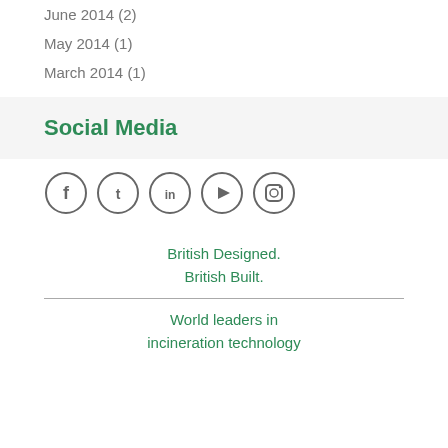June 2014 (2)
May 2014 (1)
March 2014 (1)
Social Media
[Figure (illustration): Row of five social media icon circles: Facebook, Twitter, LinkedIn, YouTube, Instagram]
British Designed.
British Built.
World leaders in incineration technology